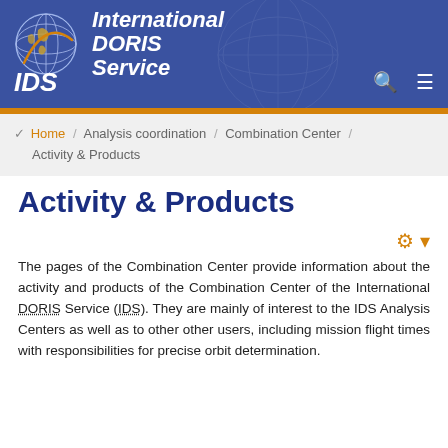[Figure (logo): International DORIS Service (IDS) logo with globe graphic and header banner]
Home / Analysis coordination / Combination Center / Activity & Products
Activity & Products
The pages of the Combination Center provide information about the activity and products of the Combination Center of the International DORIS Service (IDS). They are mainly of interest to the IDS Analysis Centers as well as to other other users, including mission flight times with responsibilities for precise orbit determination.